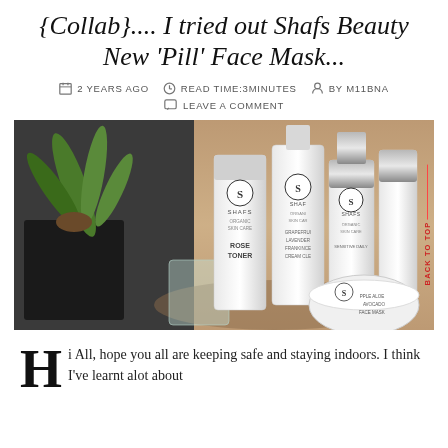{Collab}.... I tried out Shafs Beauty New 'Pill' Face Mask...
2 YEARS AGO   READ TIME:3MINUTES   BY M11BNA
LEAVE A COMMENT
[Figure (photo): Shafs Organic Skin Care products displayed on a wooden surface including Rose Toner, Grapefruit Lavender Frankincense Cream Cleanser, and Apple Aloe Avocado Face Mask, with a green plant in the background]
Hi All, hope you all are keeping safe and staying indoors. I think I've learnt alot about